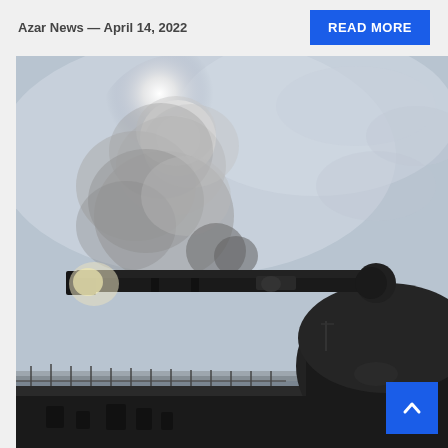Azar News — April 14, 2022
READ MORE
[Figure (photo): A naval warship deck with a gun turret firing, with smoke and muzzle flash visible against an overcast sky. The ship's deck, railings, and various naval equipment are visible in silhouette.]